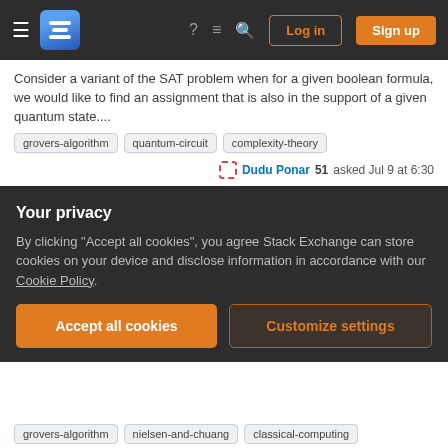Stack Exchange navigation header with Log in and Sign up buttons
Consider a variant of the SAT problem when for a given boolean formula, we would like to find an assignment that is also in the support of a given quantum state....
grovers-algorithm
quantum-circuit
complexity-theory
Dudu Ponar 51 asked Jul 9 at 6:30
2 votes   1 answer   140 views
Is there an issue with this small alteration to Grover's Diffusion Operation which can make the search at a much faster time complexity?
Before I start describing the context and background to my question, I would like to say I am relatively inexperienced in quantum computing, so my terminology may b...
Your privacy
By clicking "Accept all cookies", you agree Stack Exchange can store cookies on your device and disclose information in accordance with our Cookie Policy.
grovers-algorithm
nielsen-and-chuang
classical-computing